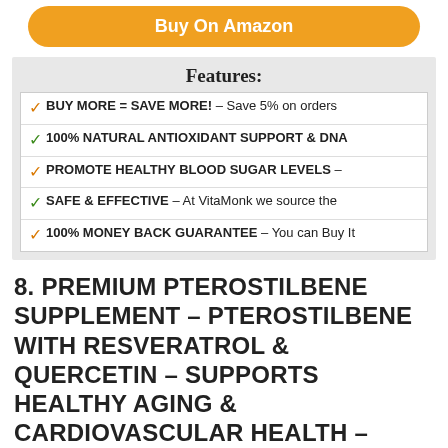Buy On Amazon
Features:
BUY MORE = SAVE MORE! – Save 5% on orders
100% NATURAL ANTIOXIDANT SUPPORT & DNA
PROMOTE HEALTHY BLOOD SUGAR LEVELS –
SAFE & EFFECTIVE – At VitaMonk we source the
100% MONEY BACK GUARANTEE – You can Buy It
8. PREMIUM PTEROSTILBENE SUPPLEMENT – PTEROSTILBENE WITH RESVERATROL & QUERCETIN – SUPPORTS HEALTHY AGING & CARDIOVASCULAR HEALTH – NATURAL SOURCE PTEROSTILBENE 100MG PER SERVING – 60 CAPSULES
[Figure (photo): Product bottle image partially visible at bottom]